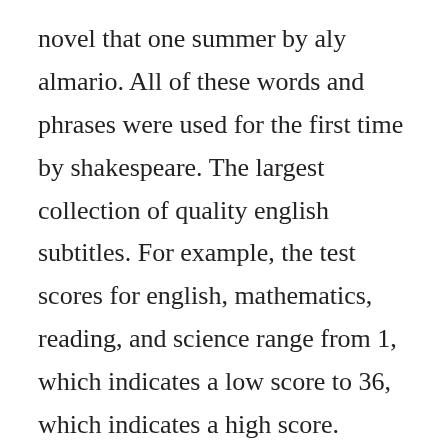novel that one summer by aly almario. All of these words and phrases were used for the first time by shakespeare. The largest collection of quality english subtitles. For example, the test scores for english, mathematics, reading, and science range from 1, which indicates a low score to 36, which indicates a high score. Download and watch this time 2016 with english subtitle. Diary ng panget full movie with english subtitles download, hannah montana season 1 episode 2, music video, funny video,free download videos. For better search specification use